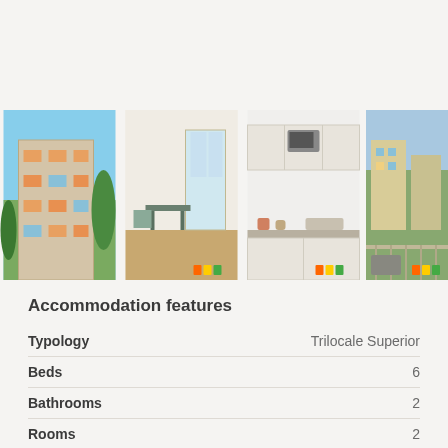[Figure (photo): Four property photos in a horizontal strip: exterior building view, living/dining room, kitchen, and balcony view]
Accommodation features
| Feature | Value |
| --- | --- |
| Typology | Trilocale Superior |
| Beds | 6 |
| Bathrooms | 2 |
| Rooms | 2 |
| Surface | 60 |
| Parking lot | Yes |